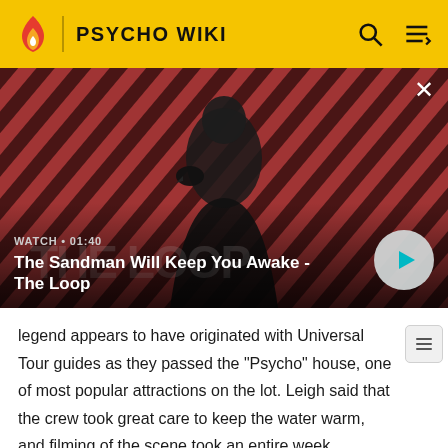PSYCHO WIKI
[Figure (screenshot): Video thumbnail showing a dark-cloaked figure with a raven on shoulder against a diagonal red and dark stripe background. Title: The Sandman Will Keep You Awake - The Loop. Watch duration: 01:40.]
legend appears to have originated with Universal Tour guides as they passed the "Psycho" house, one of most popular attractions on the lot. Leigh said that the crew took great care to keep the water warm, and filming of the scene took an entire week. Anthony Perkins, who